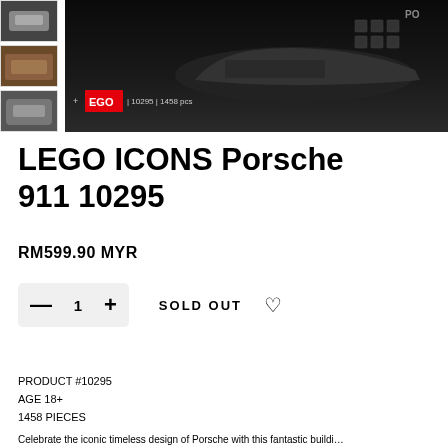[Figure (photo): LEGO Porsche 911 product page screenshot showing thumbnail images on left and main dark product image on right with LEGO badge and piece count overlay]
LEGO ICONS Porsche 911 10295
RM599.90 MYR
— 1 + SOLD OUT ♡
PRODUCT #10295
AGE 18+
1458 PIECES
Celebrate the iconic timeless design of Porsche with this fantastic building